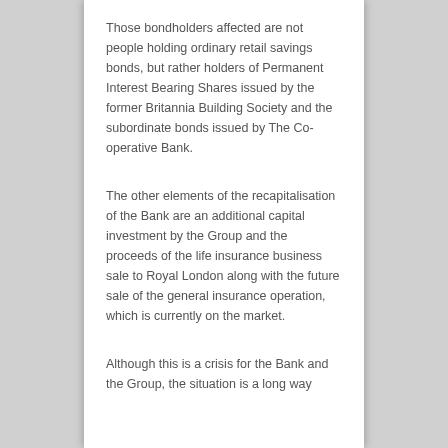Those bondholders affected are not people holding ordinary retail savings bonds, but rather holders of Permanent Interest Bearing Shares issued by the former Britannia Building Society and the subordinate bonds issued by The Co-operative Bank.
The other elements of the recapitalisation of the Bank are an additional capital investment by the Group and the proceeds of the life insurance business sale to Royal London along with the future sale of the general insurance operation, which is currently on the market.
Although this is a crisis for the Bank and the Group, the situation is a long way